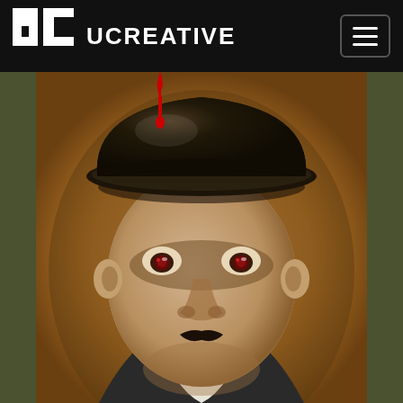UCREATIVE
[Figure (illustration): Vintage-style illustrated portrait of a sinister-looking man wearing a dark bowler hat, with red eyes and a thin mustache, set against a warm amber/ochre background. A drop of red blood drips from the hat. The image is framed with a dark olive-green border on the sides.]